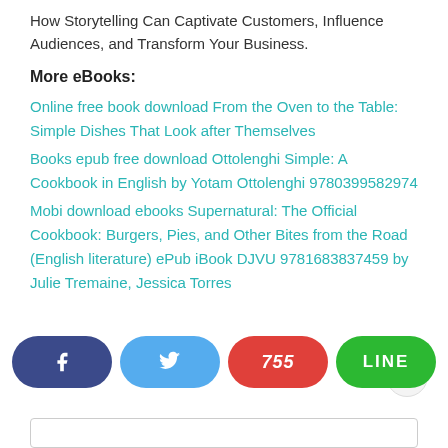How Storytelling Can Captivate Customers, Influence Audiences, and Transform Your Business.
More eBooks:
Online free book download From the Oven to the Table: Simple Dishes That Look after Themselves
Books epub free download Ottolenghi Simple: A Cookbook in English by Yotam Ottolenghi 9780399582974
Mobi download ebooks Supernatural: The Official Cookbook: Burgers, Pies, and Other Bites from the Road (English literature) ePub iBook DJVU 9781683837459 by Julie Tremaine, Jessica Torres
[Figure (infographic): Social share buttons: Facebook (dark blue), Twitter (light blue), 755 (red/orange), LINE (green), and a retweet icon button]